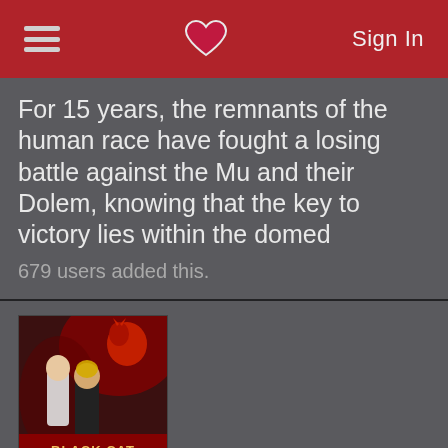Sign In
For 15 years, the remnants of the human race have fought a losing battle against the Mu and their Dolem, knowing that the key to victory lies within the domed
679 users added this.
[Figure (photo): Black Cat anime cover art showing characters and logo 'BLACK CAT']
Black Cat [TV]
bufudyne64 gave it a 8.
Ruthless and an unstoppable mercenary, Train Heartnet completes his jobs with deadly accuracy. Donning the nickname “Black Cat”, he works for a powerful underground secret organization called Chronos.